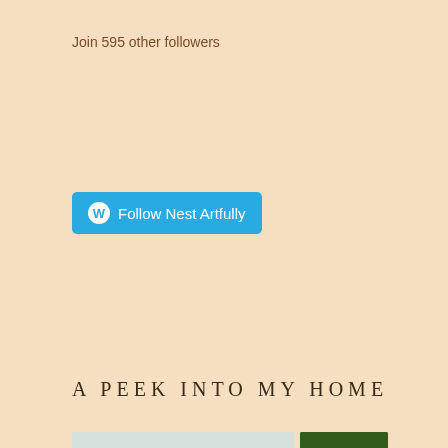Join 595 other followers
[Figure (illustration): WordPress Follow button in teal/blue: circle W icon followed by 'Follow Nest Artfully']
A PEEK INTO MY HOME
[Figure (photo): Interior home photo showing tree branch wall mural on light blue/grey background with small owl decorations and a framed picture]
[Figure (photo): Photo of a glowing orange/yellow table lamp against a dark green background]
Privacy & Cookies: This site uses cookies. By continuing to use this website, you agree to their use.
To find out more, including how to control cookies, see here: Cookie Policy
Close and accept